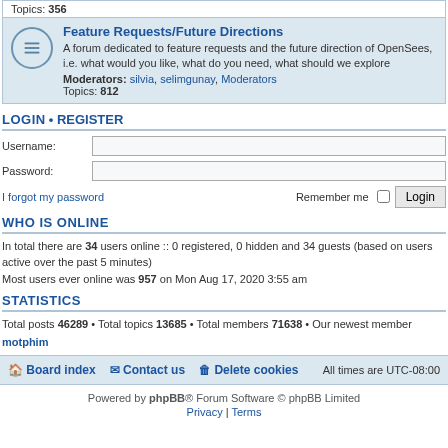Topics: 356
[Figure (screenshot): Forum category block: Feature Requests/Future Directions with icon, description, moderators and topic count]
LOGIN • REGISTER
Username:
Password:
I forgot my password
Remember me  Login
WHO IS ONLINE
In total there are 34 users online :: 0 registered, 0 hidden and 34 guests (based on users active over the past 5 minutes)
Most users ever online was 957 on Mon Aug 17, 2020 3:55 am
STATISTICS
Total posts 46289 • Total topics 13685 • Total members 71638 • Our newest member motphim
Board index  Contact us  Delete cookies  All times are UTC-08:00
Powered by phpBB® Forum Software © phpBB Limited
Privacy | Terms